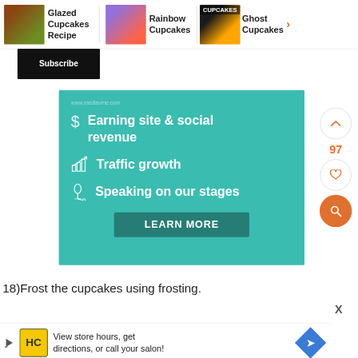[Figure (screenshot): Navigation bar showing three cupcake recipe thumbnails with titles: Glazed Cupcakes Recipe, Rainbow Cupcakes, Ghost Cupcakes with right arrow]
Glazed Cupcakes Recipe
Rainbow Cupcakes
Ghost Cupcakes
[Figure (screenshot): Subscribe button on dark background]
[Figure (infographic): Teal promotional banner with three items: dollar sign icon - Earning site & social revenue, bar chart icon - Traffic growth, microphone icon - Speaking on our stages, and a LEARN MORE button]
Earning site & social revenue
Traffic growth
Speaking on our stages
LEARN MORE
97
18)Frost the cupcakes using frosting.
X
View store hours, get directions, or call your salon!